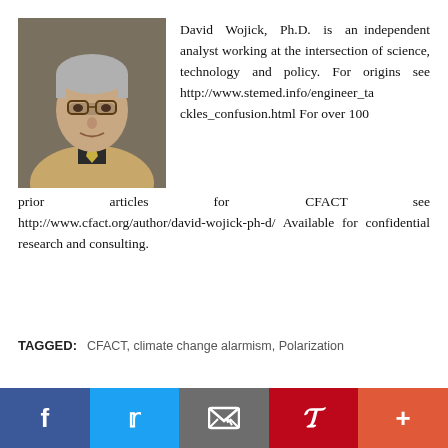[Figure (photo): Headshot photo of David Wojick, Ph.D. — an older man with gray hair and glasses, wearing a light jacket and dark tie]
David Wojick, Ph.D. is an independent analyst working at the intersection of science, technology and policy. For origins see http://www.stemed.info/engineer_tackles_confusion.html For over 100 prior articles for CFACT see http://www.cfact.org/author/david-wojick-ph-d/ Available for confidential research and consulting.
TAGGED: CFACT, climate change alarmism, Polarization